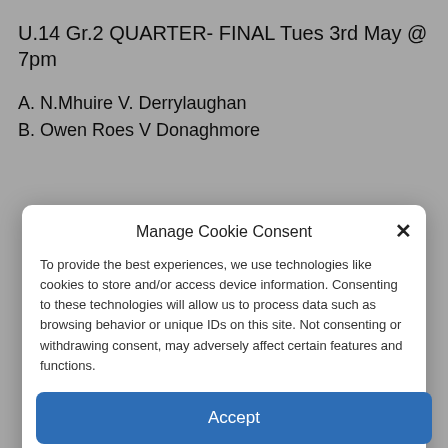U.14 Gr.2 QUARTER- FINAL Tues 3rd May @ 7pm
A. N.Mhuire V. Derrylaughan
B. Owen Roes V Donaghmore
Manage Cookie Consent
To provide the best experiences, we use technologies like cookies to store and/or access device information. Consenting to these technologies will allow us to process data such as browsing behavior or unique IDs on this site. Not consenting or withdrawing consent, may adversely affect certain features and functions.
Accept
Deny
View preferences